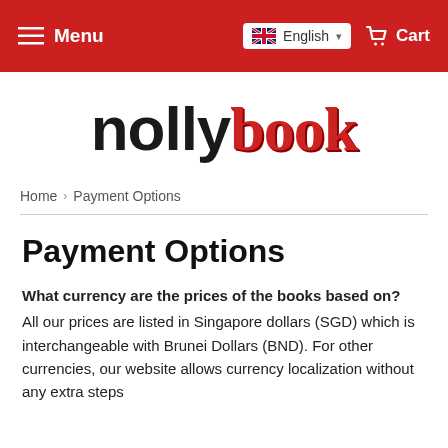Menu | English | Cart
[Figure (logo): nollybook logo — 'nolly' in black bold sans-serif and 'book' in red serif with shadow]
Home › Payment Options
Payment Options
What currency are the prices of the books based on? All our prices are listed in Singapore dollars (SGD) which is interchangeable with Brunei Dollars (BND). For other currencies, our website allows currency localization without any extra steps